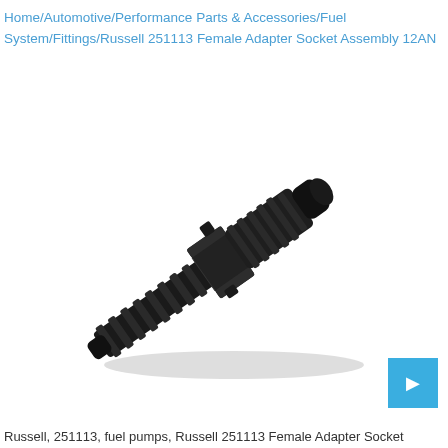Home/Automotive/Performance Parts & Accessories/Fuel System/Fittings/Russell 251113 Female Adapter Socket Assembly 12AN
[Figure (photo): Black anodized aluminum Russell 251113 Female Adapter Socket Assembly 12AN fitting, shown at a diagonal angle. The part has a barbed hose end on one side and a threaded female socket on the other, with a hex nut in the middle.]
Russell, 251113, fuel pumps, Russell 251113 Female Adapter Socket